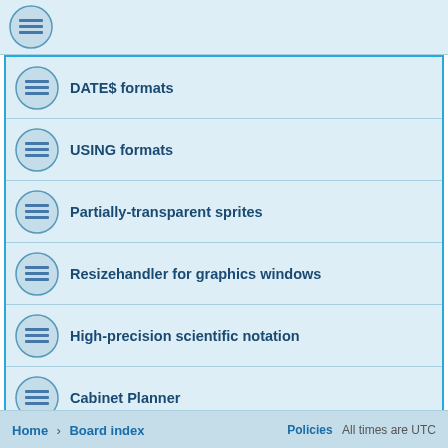DATE$ formats
USING formats
Partially-transparent sprites
Resizehandler for graphics windows
High-precision scientific notation
Cabinet Planner
Hyperbolic functions
Search found 23 matches • Page 1 of 1
Home › Board index    Policies  All times are UTC